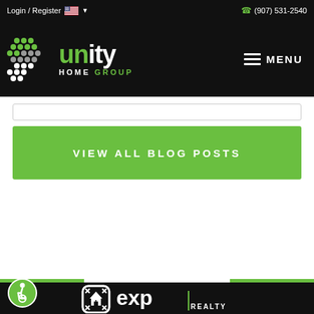Login / Register  (907) 531-2540
[Figure (logo): Unity Home Group logo - white and green text with dotted square icon on black background]
MENU
VIEW ALL BLOG POSTS
[Figure (logo): eXp Realty logo - white house icon with stylized square frame and eXp REALTY text on black background]
[Figure (illustration): Accessibility icon - circular green badge with wheelchair symbol]